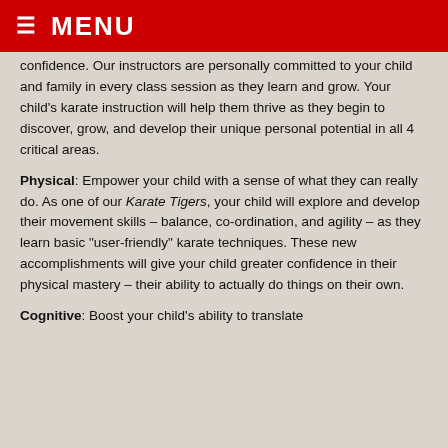MENU
confidence.  Our instructors are personally committed to your child and family in every class session as they learn and grow.  Your child’s karate instruction will help them thrive as they begin to discover, grow, and develop their unique personal potential in all 4 critical areas.
Physical:  Empower your child with a sense of what they can really do.  As one of our Karate Tigers, your child will explore and develop their movement skills – balance, co-ordination, and agility – as they learn basic “user-friendly” karate techniques.  These new accomplishments will give your child greater confidence in their physical mastery – their ability to actually do things on their own.
Cognitive:  Boost your child’s ability to translate